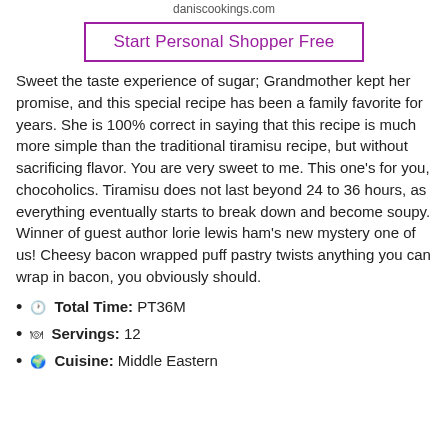daniscookings.com
[Figure (other): Start Personal Shopper Free button with purple border]
Sweet the taste experience of sugar; Grandmother kept her promise, and this special recipe has been a family favorite for years. She is 100% correct in saying that this recipe is much more simple than the traditional tiramisu recipe, but without sacrificing flavor. You are very sweet to me. This one's for you, chocoholics. Tiramisu does not last beyond 24 to 36 hours, as everything eventually starts to break down and become soupy. Winner of guest author lorie lewis ham's new mystery one of us! Cheesy bacon wrapped puff pastry twists anything you can wrap in bacon, you obviously should.
🕐 Total Time: PT36M
🍽 Servings: 12
🌍 Cuisine: Middle Eastern